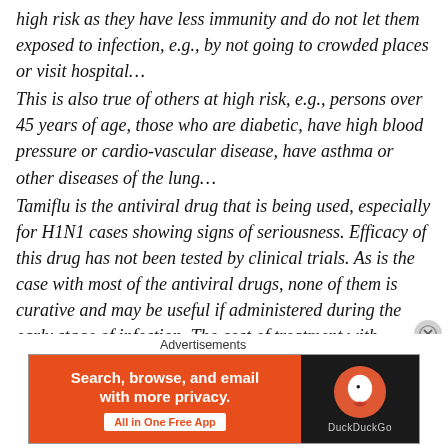high risk as they have less immunity and do not let them exposed to infection, e.g., by not going to crowded places or visit hospital…
This is also true of others at high risk, e.g., persons over 45 years of age, those who are diabetic, have high blood pressure or cardio-vascular disease, have asthma or other diseases of the lung…
Tamiflu is the antiviral drug that is being used, especially for H1N1 cases showing signs of seriousness. Efficacy of this drug has not been tested by clinical trials. As is the case with most of the antiviral drugs, none of them is curative and may be useful if administered during the early stage of infection. The cost of treatment with Tamiflu is Rs.
Advertisements
[Figure (other): DuckDuckGo advertisement banner: orange left panel with text 'Search, browse, and email with more privacy. All in One Free App' and dark right panel with DuckDuckGo logo.]